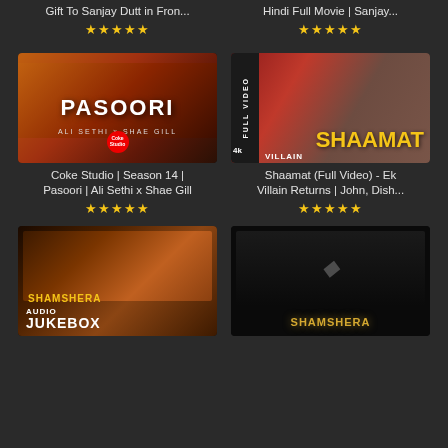Gift To Sanjay Dutt in Fron...
Hindi Full Movie | Sanjay...
[Figure (screenshot): Pasoori music video thumbnail from Coke Studio with orange-red tones and bold PASOORI text]
Coke Studio | Season 14 | Pasoori | Ali Sethi x Shae Gill
[Figure (screenshot): Shaamat Full Video thumbnail from Ek Villain Returns with FULL VIDEO and 4k label, red background with SHAAMAT text in yellow]
Shaamat (Full Video) - Ek Villain Returns | John, Dish...
[Figure (screenshot): Shamshera Audio Jukebox movie thumbnail with colourful characters and AUDIO JUKEBOX text]
[Figure (screenshot): Shamshera dark-themed movie promotional image in black and white with gold SHAMSHERA logo]